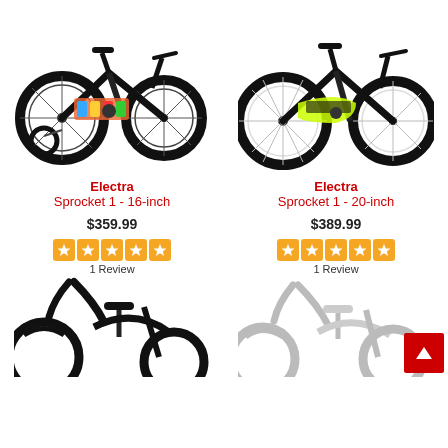[Figure (photo): Electra Sprocket 1 16-inch kids bicycle, black with colorful graphics, training wheels, side view]
[Figure (photo): Electra Sprocket 1 20-inch kids bicycle, black with yellow/green accents, side view]
Electra
Sprocket 1 - 16-inch
$359.99
1 Review
Electra
Sprocket 1 - 20-inch
$389.99
1 Review
[Figure (photo): Black cruiser bicycle, partial view, lower portion of page]
[Figure (photo): White/cream cruiser bicycle, partial view, lower portion of page]